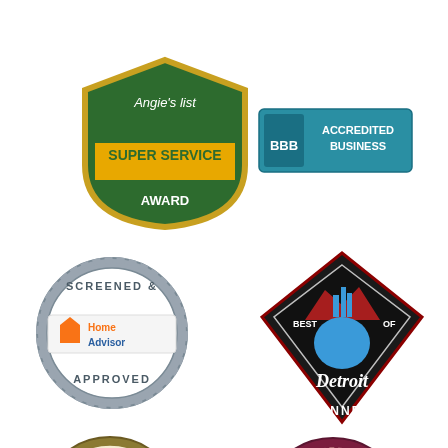[Figure (logo): Angie's List Super Service Award badge - green shield shape with gold border, text 'Angie's list SUPER SERVICE AWARD']
[Figure (logo): BBB Accredited Business badge - teal/blue rectangle with BBB torch logo and text 'ACCREDITED BUSINESS']
[Figure (logo): HomeAdvisor Screened & Approved circular seal badge]
[Figure (logo): Metro Times Best of Detroit Winner badge - diamond shape with fist graphic and text 'BEST OF Detroit WINNER']
[Figure (logo): Small Business Community Association Recognizing Business award seal with eagle]
[Figure (logo): BNI Proud Member circular badge - dark red/maroon circle with BNI logo]